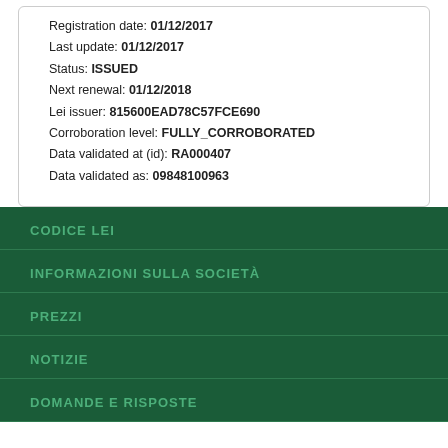Registration date: 01/12/2017
Last update: 01/12/2017
Status: ISSUED
Next renewal: 01/12/2018
Lei issuer: 815600EAD78C57FCE690
Corroboration level: FULLY_CORROBORATED
Data validated at (id): RA000407
Data validated as: 09848100963
CODICE LEI
INFORMAZIONI SULLA SOCIETÀ
PREZZI
NOTIZIE
DOMANDE E RISPOSTE